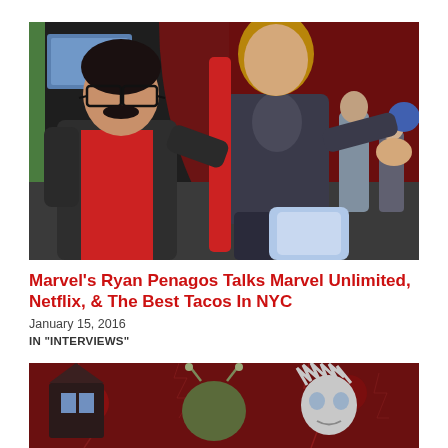[Figure (photo): A man with glasses and mustache wearing a dark jacket and red shirt posing with a Thor cosplay/statue figure in armor and red cape at what appears to be a convention hall]
Marvel's Ryan Penagos Talks Marvel Unlimited, Netflix, & The Best Tacos In NYC
January 15, 2016
IN "INTERVIEWS"
[Figure (photo): Cartoon character illustrations on a dark red background with lightning vein patterns — appears to show animated characters including what looks like Rick and Morty style figures]